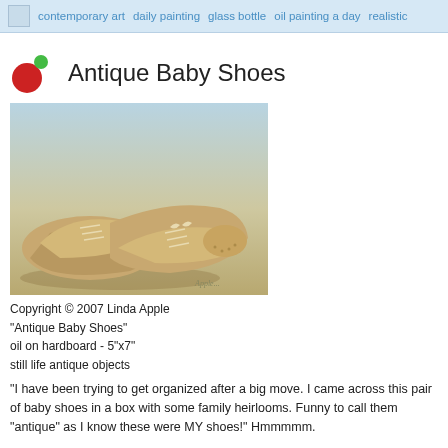contemporary art   daily painting   glass bottle   oil painting a day   realistic
Antique Baby Shoes
[Figure (photo): Oil painting of a pair of antique baby shoes on a light blue and beige background, signed 'Apple']
Copyright © 2007 Linda Apple
"Antique Baby Shoes"
oil on hardboard - 5"x7"
still life antique objects
"I have been trying to get organized after a big move. I came across this pair of baby shoes in a box with some family heirlooms. Funny to call them "antique" as I know these were MY shoes!" Hmmmmm.